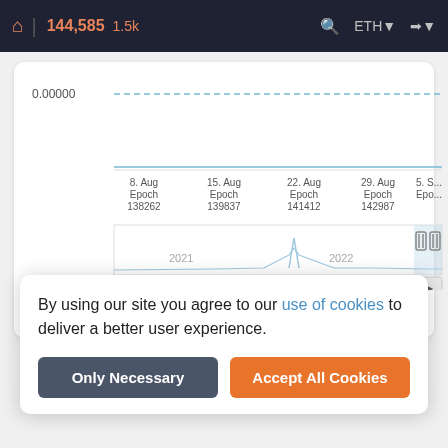144,585  1.5k  ETH
[Figure (line-chart): Line chart showing daily income over time from 2021 to 2022. X-axis shows dates: 8. Aug Epoch 138262, 15. Aug Epoch 139837, 22. Aug Epoch 141412, 29. Aug Epoch 142987, 5. S... Epo... Y-axis starts at 0.00000. A dashed horizontal line at 0.00000. A minimap shows 2021-2022 range with a spike visible around mid-2021 and another around early 2022.]
Daily Income
beaconcha.in
By using our site you agree to our use of cookies to deliver a better user experience.
Only Necessary
Accept All Cookies